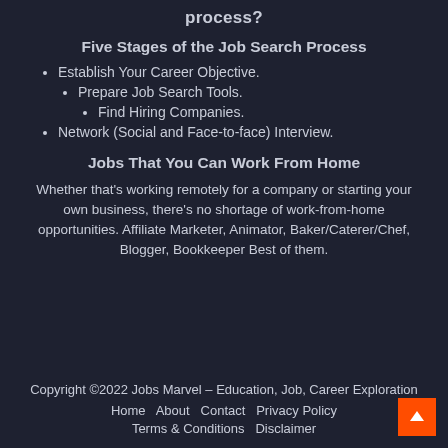process?
Five Stages of the Job Search Process
Establish Your Career Objective.
Prepare Job Search Tools.
Find Hiring Companies.
Network (Social and Face-to-face) Interview.
Jobs That You Can Work From Home
Whether that’s working remotely for a company or starting your own business, there’s no shortage of work-from-home opportunities. Affiliate Marketer, Animator, Baker/Caterer/Chef, Blogger, Bookkeeper Best of them.
Copyright ©2022 Jobs Marvel – Education, Job, Career Exploration
Home   About   Contact   Privacy Policy
Terms & Conditions   Disclaimer